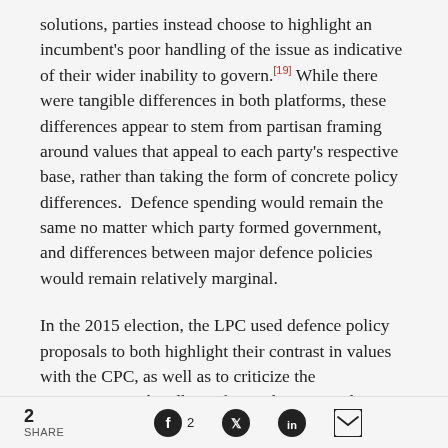solutions, parties instead choose to highlight an incumbent's poor handling of the issue as indicative of their wider inability to govern.[19] While there were tangible differences in both platforms, these differences appear to stem from partisan framing around values that appeal to each party's respective base, rather than taking the form of concrete policy differences.  Defence spending would remain the same no matter which party formed government, and differences between major defence policies would remain relatively marginal.
In the 2015 election, the LPC used defence policy proposals to both highlight their contrast in values with the CPC, as well as to criticize the Conservatives' handling of Canada's national defence.  In the 2019
2 SHARE  [Facebook] 2  [Twitter]  [LinkedIn]  [Email]